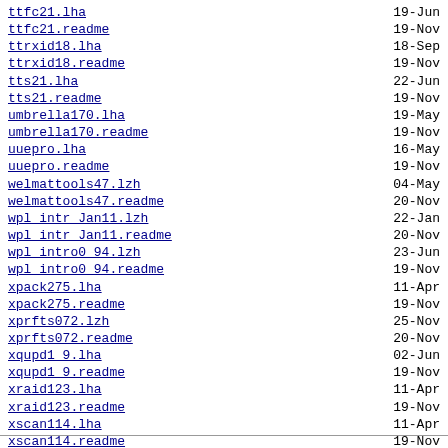ttfc21.lha	19-Jun
ttfc21.readme	19-Nov
ttrxid18.lha	18-Sep
ttrxid18.readme	19-Nov
tts21.lha	22-Jun
tts21.readme	19-Nov
umbrella170.lha	19-May
umbrella170.readme	19-Nov
uuepro.lha	16-May
uuepro.readme	19-Nov
welmattools47.lzh	04-May
welmattools47.readme	20-Nov
wpl intr Jan11.lzh	22-Jan
wpl intr Jan11.readme	20-Nov
wpl intro0 94.lzh	23-Jun
wpl intro0 94.readme	19-Nov
xpack275.lha	11-Apr
xpack275.readme	19-Nov
xprfts072.lzh	25-Nov
xprfts072.readme	20-Nov
xqupd1 9.lha	02-Jun
xqupd1 9.readme	19-Nov
xraid123.lha	11-Apr
xraid123.readme	19-Nov
xscan114.lha	11-Apr
xscan114.readme	19-Nov
xtick403.lha	11-Apr
xtick403.readme	19-Nov